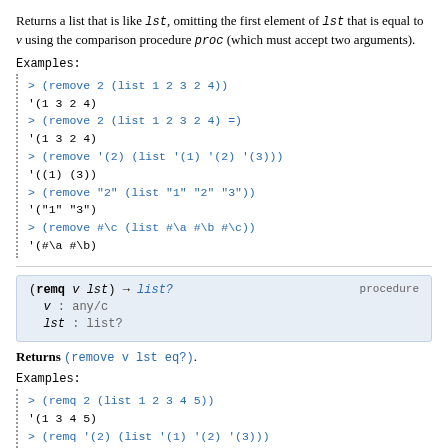Returns a list that is like lst, omitting the first element of lst that is equal to v using the comparison procedure proc (which must accept two arguments).
Examples:
> (remove 2 (list 1 2 3 2 4))
'(1 3 2 4)
> (remove 2 (list 1 2 3 2 4) =)
'(1 3 2 4)
> (remove '(2) (list '(1) '(2) '(3)))
'((1) (3))
> (remove "2" (list "1" "2" "3"))
'("1" "3")
> (remove #\c (list #\a #\b #\c))
'(#\a #\b)
(remq v lst) → list?
  v : any/c
  lst : list?
Returns (remove v lst eq?).
Examples:
> (remq 2 (list 1 2 3 4 5))
'(1 3 4 5)
> (remq '(2) (list '(1) '(2) '(3)))
'((1) (2) (3))
> (remq "2" (list "1" "2" "3"))